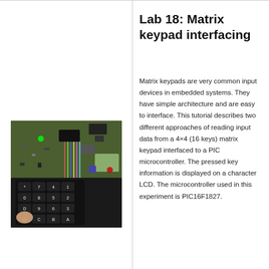[Figure (photo): Photograph of a breadboard/PCB setup with a 4x4 matrix keypad connected to a microcontroller circuit. A finger is pressing a key on the black keypad. Various electronic components and wires are visible on the green circuit board.]
Lab 18: Matrix keypad interfacing
Matrix keypads are very common input devices in embedded systems. They have simple architecture and are easy to interface. This tutorial describes two different approaches of reading input data from a 4×4 (16 keys) matrix keypad interfaced to a PIC microcontroller. The pressed key information is displayed on a character LCD. The microcontroller used in this experiment is PIC16F1827.